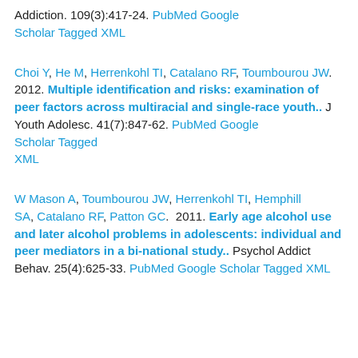Addiction. 109(3):417-24. PubMed Google Scholar Tagged XML
Choi Y, He M, Herrenkohl TI, Catalano RF, Toumbourou JW. 2012. Multiple identification and risks: examination of peer factors across multiracial and single-race youth.. J Youth Adolesc. 41(7):847-62. PubMed Google Scholar Tagged XML
W Mason A, Toumbourou JW, Herrenkohl TI, Hemphill SA, Catalano RF, Patton GC. 2011. Early age alcohol use and later alcohol problems in adolescents: individual and peer mediators in a bi-national study.. Psychol Addict Behav. 25(4):625-33. PubMed Google Scholar Tagged XML